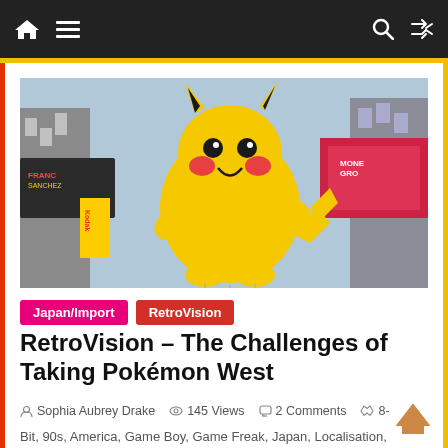Navigation bar with home, menu, search, and shuffle icons
[Figure (photo): Large Pikachu balloon float flying above Times Square, New York City, with colorful billboards including Kodak and other advertisements visible on surrounding buildings.]
Japan/Import
RetroVision
RetroVision – The Challenges of Taking Pokémon West
Sophia Aubrey Drake   145 Views   2 Comments
8-Bit, 90s, America, Game Boy, Game Freak, Japan, Localisation,